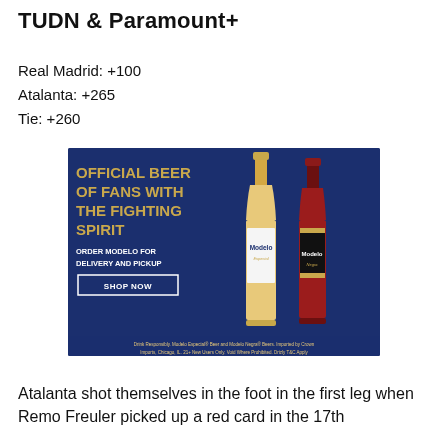TUDN & Paramount+
Real Madrid: +100
Atalanta: +265
Tie: +260
[Figure (photo): Modelo beer advertisement: 'Official Beer of Fans with the Fighting Spirit. Order Modelo for Delivery and Pickup. Shop Now.' Shows Modelo Especial and Modelo Negra bottles on dark blue background.]
Atalanta shot themselves in the foot in the first leg when Remo Freuler picked up a red card in the 17th